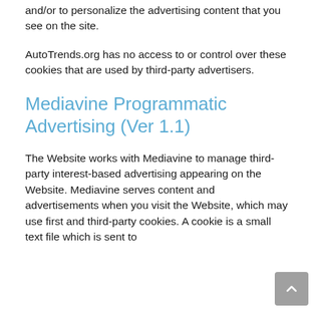and/or to personalize the advertising content that you see on the site.
AutoTrends.org has no access to or control over these cookies that are used by third-party advertisers.
Mediavine Programmatic Advertising (Ver 1.1)
The Website works with Mediavine to manage third-party interest-based advertising appearing on the Website. Mediavine serves content and advertisements when you visit the Website, which may use first and third-party cookies. A cookie is a small text file which is sent to